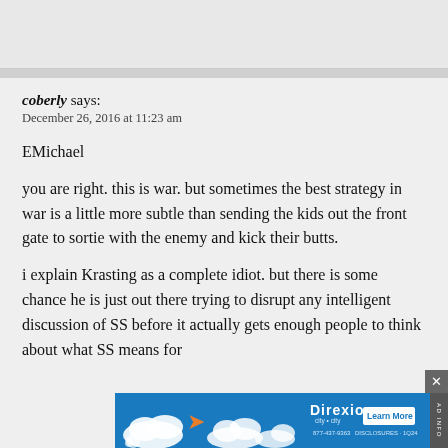coberly says:
December 26, 2016 at 11:23 am
EMichael
you are right. this is war. but sometimes the best strategy in war is a little more subtle than sending the kids out the front gate to sortie with the enemy and kick their butts.
i explain Krasting as a complete idiot. but there is some chance he is just out there trying to disrupt any intelligent discussion of SS before it actually gets enough people to think about what SS means for
[Figure (infographic): Blue advertisement banner for Direxion with cloud and arrow graphics, Learn More button, and phone number. Close button at top right.]